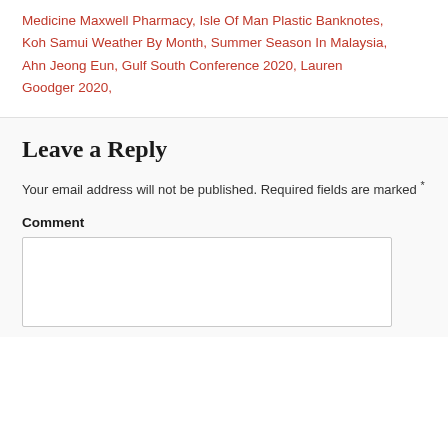Medicine Maxwell Pharmacy, Isle Of Man Plastic Banknotes, Koh Samui Weather By Month, Summer Season In Malaysia, Ahn Jeong Eun, Gulf South Conference 2020, Lauren Goodger 2020,
Leave a Reply
Your email address will not be published. Required fields are marked *
Comment